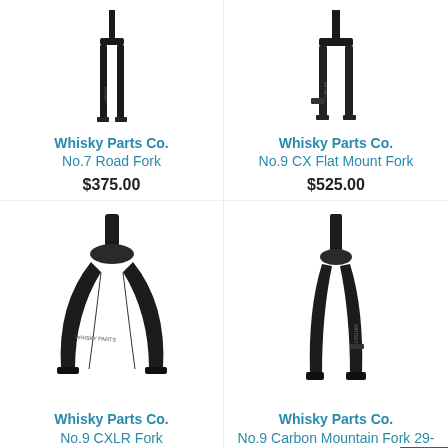[Figure (photo): Whisky Parts Co. No.7 Road Fork — black carbon road bicycle fork, narrow profile]
Whisky Parts Co.
No.7 Road Fork
$375.00
[Figure (photo): Whisky Parts Co. No.9 CX Flat Mount Fork — black carbon cyclocross fork with flat mount caliper tab]
Whisky Parts Co.
No.9 CX Flat Mount Fork
$525.00
[Figure (photo): Whisky Parts Co. No.9 CXLR Fork — black carbon cyclocross fork, wide wide blade profile]
Whisky Parts Co.
No.9 CXLR Fork
$565.00
[Figure (photo): Whisky Parts Co. No.9 Carbon Mountain Fork 29-inch — black carbon 29-inch mountain bike fork]
Whisky Parts Co.
No.9 Carbon Mountain Fork 29-inch
$525.00